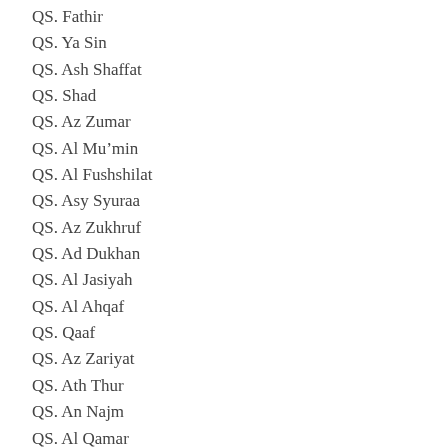QS. Fathir
QS. Ya Sin
QS. Ash Shaffat
QS. Shad
QS. Az Zumar
QS. Al Mu'min
QS. Al Fushshilat
QS. Asy Syuraa
QS. Az Zukhruf
QS. Ad Dukhan
QS. Al Jasiyah
QS. Al Ahqaf
QS. Qaaf
QS. Az Zariyat
QS. Ath Thur
QS. An Najm
QS. Al Qamar
QS. Al Waqi'ah